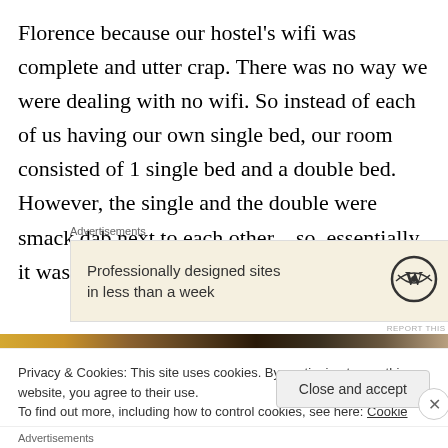Florence because our hostel's wifi was complete and utter crap. There was no way we were dealing with no wifi. So instead of each of us having our own single bed, our room consisted of 1 single bed and a double bed. However, the single and the double were smack dab next to each other…so, essentially, it was just one giant bed:
[Figure (other): WordPress advertisement: 'Professionally designed sites in less than a week' with WordPress logo on beige background, with 'Advertisements' label above and 'REPORT THIS AD' link below]
[Figure (photo): Partial photo strip showing warm golden/brown tones, appears to be a hotel or hostel room photo]
Privacy & Cookies: This site uses cookies. By continuing to use this website, you agree to their use.
To find out more, including how to control cookies, see here: Cookie Policy
Advertisements